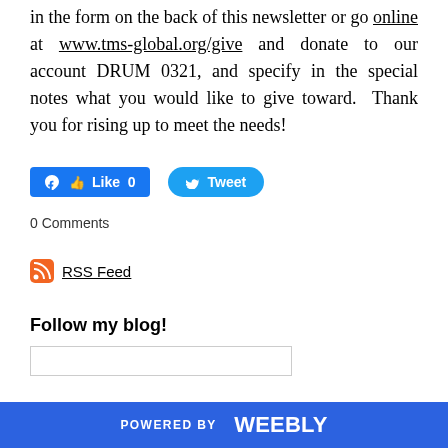in the form on the back of this newsletter or go online at www.tms-global.org/give and donate to our account DRUM 0321, and specify in the special notes what you would like to give toward.  Thank you for rising up to meet the needs!
[Figure (other): Facebook Like button (blue, count 0) and Twitter Tweet button (blue, rounded)]
0 Comments
[Figure (other): RSS Feed icon (orange) with link text 'RSS Feed']
Follow my blog!
[Figure (other): Text input box for blog follow]
POWERED BY weebly